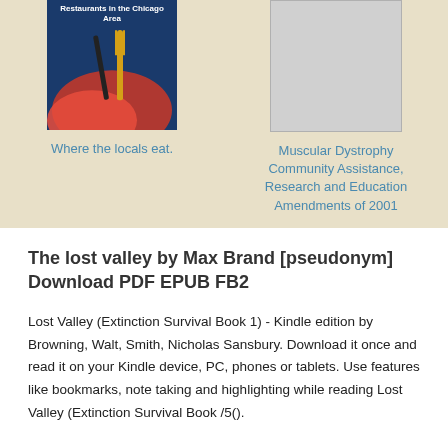[Figure (illustration): Book cover for a restaurant guide featuring a gold fork and red napkin on a blue background with text 'Restaurants in the Chicago Area']
Where the locals eat.
[Figure (illustration): Placeholder book cover image, gray rectangle]
Muscular Dystrophy Community Assistance, Research and Education Amendments of 2001
The lost valley by Max Brand [pseudonym] Download PDF EPUB FB2
Lost Valley (Extinction Survival Book 1) - Kindle edition by Browning, Walt, Smith, Nicholas Sansbury. Download it once and read it on your Kindle device, PC, phones or tablets. Use features like bookmarks, note taking and highlighting while reading Lost Valley (Extinction Survival Book /5().